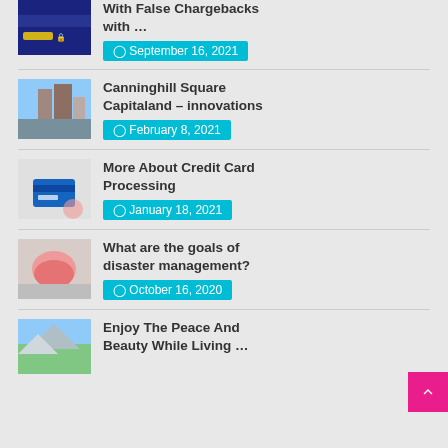[Figure (photo): Credit card with lock/security image (partially visible at top)]
With False Chargebacks with …
September 16, 2021
[Figure (photo): Canninghill Square building - tall residential towers]
Canninghill Square Capitaland – innovations
February 8, 2021
[Figure (photo): Hand holding credit card with coffee cup in background]
More About Credit Card Processing
January 18, 2021
[Figure (photo): Hands clasped together - disaster management concept]
What are the goals of disaster management?
October 16, 2020
[Figure (photo): Mountain landscape with forest - peace and beauty living]
Enjoy The Peace And Beauty While Living …